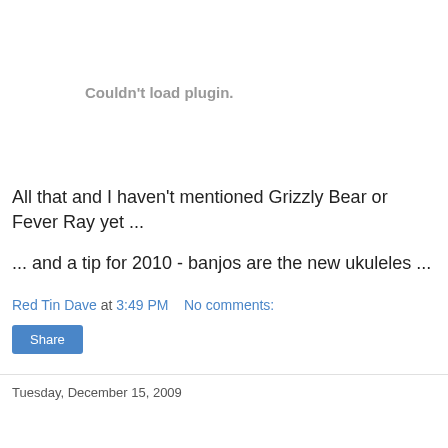[Figure (other): Plugin placeholder area showing 'Couldn't load plugin.' message in gray text]
All that and I haven't mentioned Grizzly Bear or Fever Ray yet ...
... and a tip for 2010 - banjos are the new ukuleles ...
Red Tin Dave at 3:49 PM   No comments:
Share
Tuesday, December 15, 2009